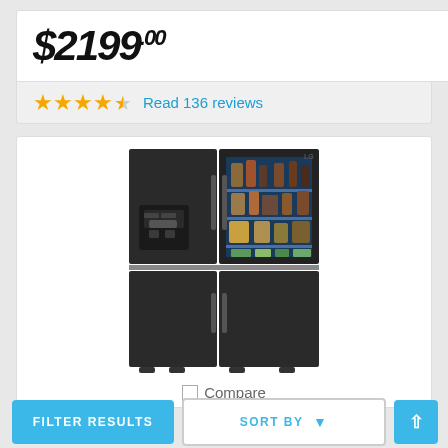$2199.00
★★★★½ Read 136 reviews
[Figure (photo): LG black stainless steel French door refrigerator with InstaView glass panel door and water/ice dispenser on the left door]
Compare
FILTER RESULTS
SORT BY
^